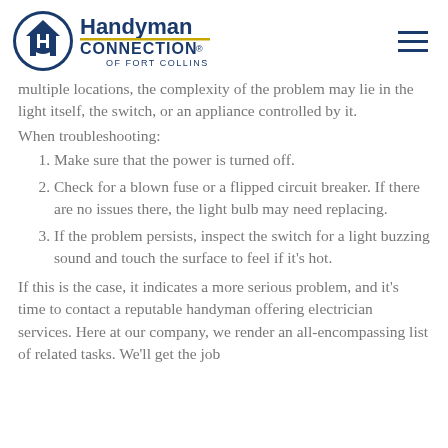[Figure (logo): Handyman Connection of Fort Collins logo with blue circle icon and text]
multiple locations, the complexity of the problem may lie in the light itself, the switch, or an appliance controlled by it.
When troubleshooting:
Make sure that the power is turned off.
Check for a blown fuse or a flipped circuit breaker. If there are no issues there, the light bulb may need replacing.
If the problem persists, inspect the switch for a light buzzing sound and touch the surface to feel if it's hot.
If this is the case, it indicates a more serious problem, and it's time to contact a reputable handyman offering electrician services. Here at our company, we render an all-encompassing list of related tasks. We'll get the job